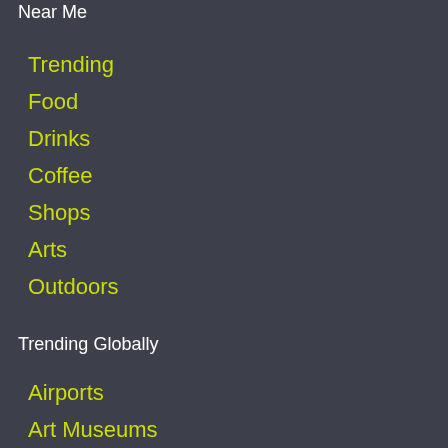Near Me
Trending
Food
Drinks
Coffee
Shops
Arts
Outdoors
Trending Globally
Airports
Art Museums
Aquariums
Castles
History Museums
Hotels
National Parks